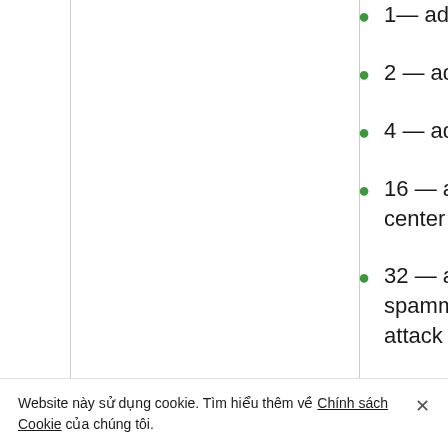1— address is TOR output node
2 — address is a proxy server
4 — address is a VPN server
16 — address belongs to a data center
32 — address belongs to a spammer or was involved in an attack on mail
Website này sử dụng cookie. Tìm hiểu thêm về Chính sách Cookie của chúng tôi. ×